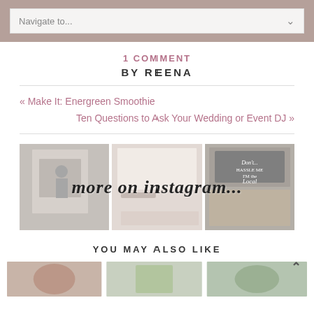Navigate to...
1 COMMENT
BY REENA
« Make It: Energreen Smoothie
Ten Questions to Ask Your Wedding or Event DJ »
[Figure (photo): Three Instagram photos side by side with overlay text 'more on instagram...']
YOU MAY ALSO LIKE
[Figure (photo): Three thumbnail images at the bottom of the page]